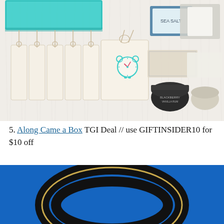[Figure (photo): Flat lay photo on white fluffy background showing a teal gift box, several cream/natural fabric drawstring pouches with a teal alarm clock graphic, and beauty/wellness products including jars and cards, on a white fur surface]
5. Along Came a Box TGI Deal // use GIFTINSIDER10 for $10 off
[Figure (photo): Close-up photo of a black and gold bracelet/bangle against a bright blue background]